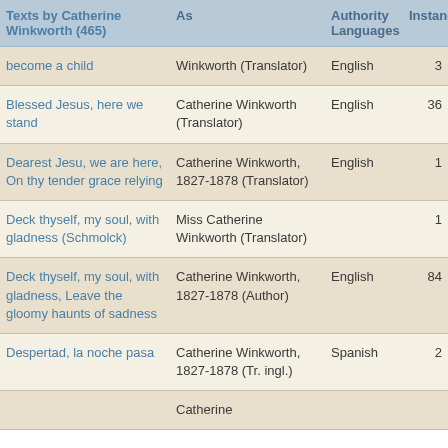| Texts by Catherine Winkworth (465) | As | Authority Languages | Instances |
| --- | --- | --- | --- |
| become a child | Winkworth (Translator) | English | 3 |
| Blessed Jesus, here we stand | Catherine Winkworth (Translator) | English | 36 |
| Dearest Jesu, we are here, On thy tender grace relying | Catherine Winkworth, 1827-1878 (Translator) | English | 1 |
| Deck thyself, my soul, with gladness (Schmolck) | Miss Catherine Winkworth (Translator) |  | 1 |
| Deck thyself, my soul, with gladness, Leave the gloomy haunts of sadness | Catherine Winkworth, 1827-1878 (Author) | English | 84 |
| Despertad, la noche pasa | Catherine Winkworth, 1827-1878 (Tr. ingl.) | Spanish | 2 |